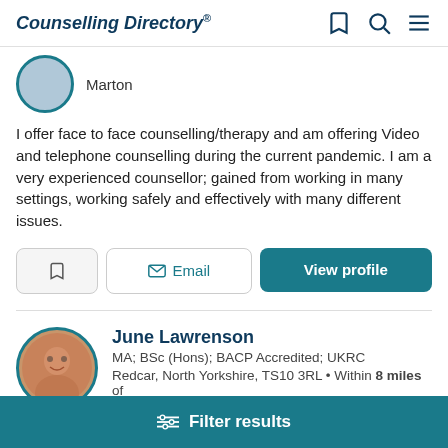Counselling Directory
Marton
I offer face to face counselling/therapy and am offering Video and telephone counselling during the current pandemic. I am a very experienced counsellor; gained from working in many settings, working safely and effectively with many different issues.
June Lawrenson
MA; BSc (Hons); BACP Accredited; UKRC
Redcar, North Yorkshire, TS10 3RL • Within 8 miles of
Filter results